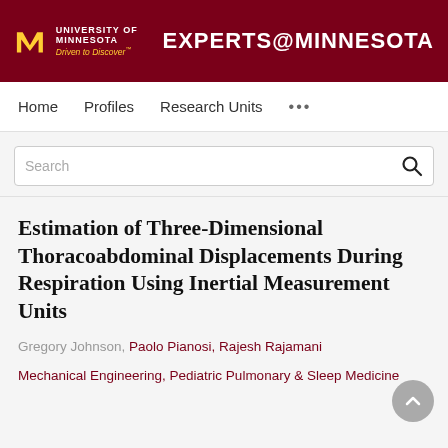UNIVERSITY OF MINNESOTA Driven to Discover® EXPERTS@MINNESOTA
Home   Profiles   Research Units   ...
Search
Estimation of Three-Dimensional Thoracoabdominal Displacements During Respiration Using Inertial Measurement Units
Gregory Johnson, Paolo Pianosi, Rajesh Rajamani
Mechanical Engineering, Pediatric Pulmonary & Sleep Medicine